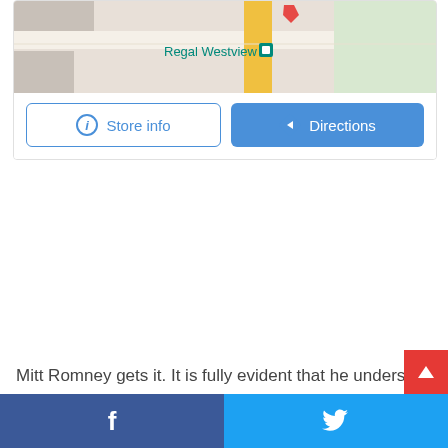[Figure (screenshot): Google Maps card showing a map with 'Regal Westview' location marker, with 'Store info' and 'Directions' buttons below the map image.]
Mitt Romney gets it.  It is fully evident that he understands ho
[Figure (screenshot): Social sharing bar at bottom: Facebook (blue, f icon) on the left, Twitter (light blue, bird icon) on the right. Red scroll-to-top button on right edge.]